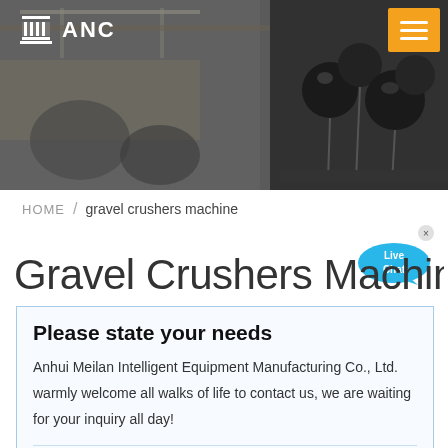[Figure (photo): Header banner showing a factory interior with equipment and microphones, with ANC logo and orange hamburger menu button]
HOME / gravel crushers machine
Gravel Crushers Machine
Please state your needs
Anhui Meilan Intelligent Equipment Manufacturing Co., Ltd. warmly welcome all walks of life to contact us, we are waiting for your inquiry all day!
Name:* Such as: petter